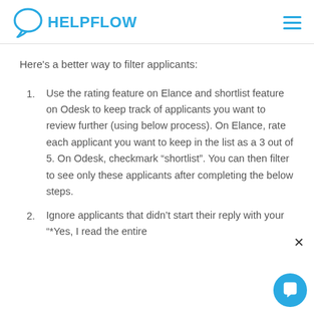HELPFLOW
Here’s a better way to filter applicants:
Use the rating feature on Elance and shortlist feature on Odesk to keep track of applicants you want to review further (using below process). On Elance, rate each applicant you want to keep in the list as a 3 out of 5. On Odesk, checkmark “shortlist”. You can then filter to see only these applicants after completing the below steps.
Ignore applicants that didn’t start their reply with your “*Yes, I read the entire